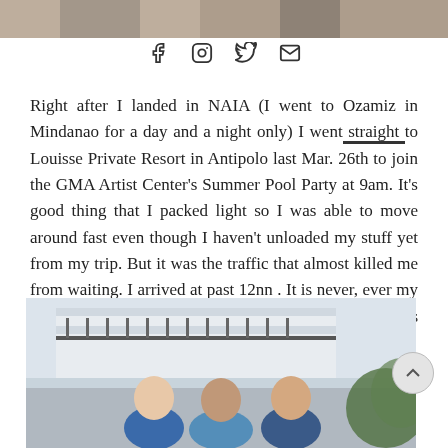[Figure (photo): Partial photo at top of page, cropped figures visible from chest down]
f  🔘  🐦  ✉ (social share icons)
Right after I landed in NAIA (I went to Ozamiz in Mindanao for a day and a night only) I went straight to Louisse Private Resort in Antipolo last Mar. 26th to join the GMA Artist Center's Summer Pool Party at 9am. It's good thing that I packed light so I was able to move around fast even though I haven't unloaded my stuff yet from my trip. But it was the traffic that almost killed me from waiting. I arrived at past 12nn . It is never, ever my habit to be late in commitments like this but this one is really another story.
[Figure (photo): Photo of three men smiling outdoors in front of a building with railings, wearing casual shirts]